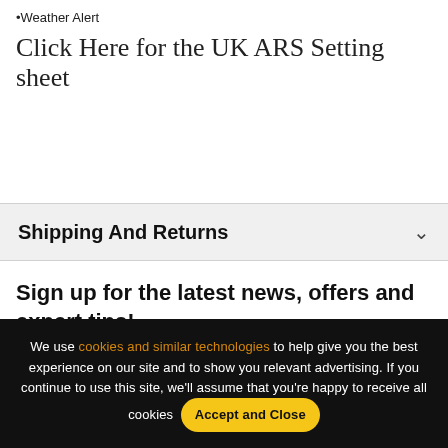•Weather Alert
Click Here for the UK ARS Setting sheet
Shipping And Returns
Sign up for the latest news, offers and expert tips!
We use cookies and similar technologies to help give you the best experience on our site and to show you relevant advertising. If you continue to use this site, we'll assume that you're happy to receive all cookies  Accept and Close